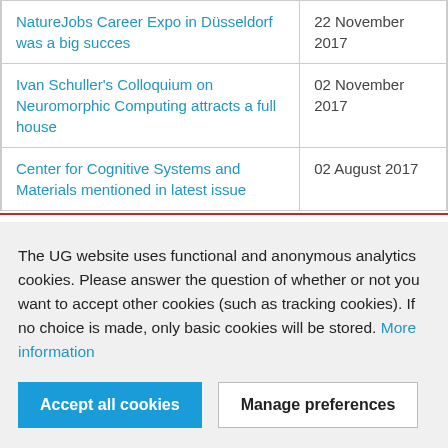|  |  |
| --- | --- |
| NatureJobs Career Expo in Düsseldorf was a big succes | 22 November 2017 |
| Ivan Schuller's Colloquium on Neuromorphic Computing attracts a full house | 02 November 2017 |
| Center for Cognitive Systems and Materials mentioned in latest issue | 02 August 2017 |
The UG website uses functional and anonymous analytics cookies. Please answer the question of whether or not you want to accept other cookies (such as tracking cookies). If no choice is made, only basic cookies will be stored. More information
Accept all cookies
Manage preferences